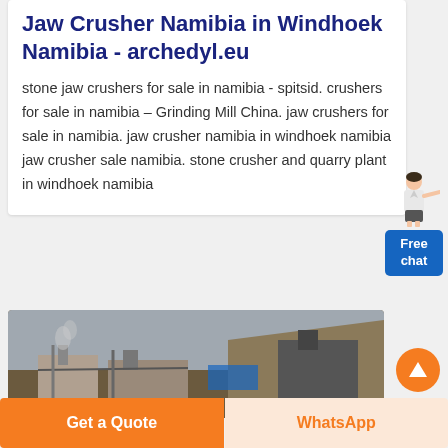Jaw Crusher Namibia in Windhoek Namibia - archedyl.eu
stone jaw crushers for sale in namibia - spitsid. crushers for sale in namibia – Grinding Mill China. jaw crushers for sale in namibia. jaw crusher namibia in windhoek namibia jaw crusher sale namibia. stone crusher and quarry plant in windhoek namibia
[Figure (illustration): Woman figure pointing, representing a chat assistant, next to a blue 'Free chat' button]
[Figure (photo): Industrial quarry/crusher plant site with machinery and structures]
Get a Quote
WhatsApp